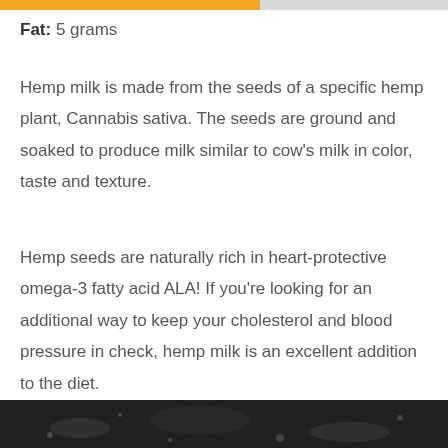Fat: 5 grams
Hemp milk is made from the seeds of a specific hemp plant, Cannabis sativa. The seeds are ground and soaked to produce milk similar to cow’s milk in color, taste and texture.
Hemp seeds are naturally rich in heart-protective omega-3 fatty acid ALA! If you’re looking for an additional way to keep your cholesterol and blood pressure in check, hemp milk is an excellent addition to the diet.
[Figure (photo): Bottom strip of a dark photo showing hemp seeds or related food item]